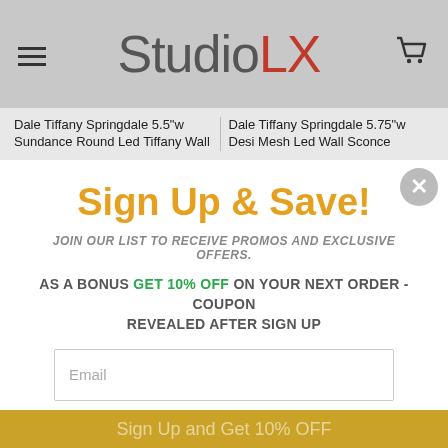Studio LX
Dale Tiffany Springdale 5.5"w Sundance Round Led Tiffany Wall | Dale Tiffany Springdale 5.75"w Desi Mesh Led Wall Sconce
Sign Up & Save!
JOIN OUR LIST TO RECEIVE PROMOS AND EXCLUSIVE OFFERS.
AS A BONUS GET 10% OFF ON YOUR NEXT ORDER - COUPON REVEALED AFTER SIGN UP
Email
Sign me up!
*By completing this form you are signing up to receive our emails and can unsubscribe at any time.
Sign Up and Get 10% OFF